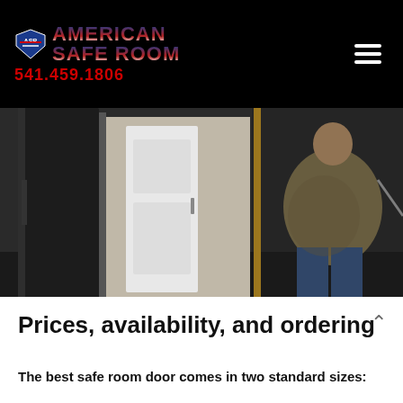[Figure (logo): American Safe Room logo with flag-styled text 'AMERICAN SAFE ROOM' and phone number 541.459.1806, on black header bar with hamburger menu icon]
[Figure (photo): Person standing next to a heavy steel safe room door, with a white interior door visible behind them in a dark room]
Prices, availability, and ordering
The best safe room door comes in two standard sizes: